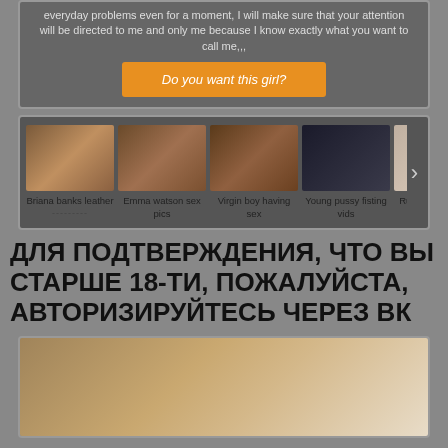everyday problems even for a moment, I will make sure that your attention will be directed to me and only me because I know exactly what you want to call me,,,
[Figure (other): Orange button labeled 'Do you want this girl?']
[Figure (other): Carousel of thumbnail images with labels: Briana banks leather, Emma watson sex pics, Virgin boy having sex, Young pussy fisting vids, Rubber fetish tube]
ДЛЯ ПОДТВЕРЖДЕНИЯ, ЧТО ВЫ СТАРШЕ 18-ТИ, ПОЖАЛУЙСТА, АВТОРИЗИРУЙТЕСЬ ЧЕРЕЗ ВК
[Figure (photo): Partial photo showing blurred brown/tan textured surface]